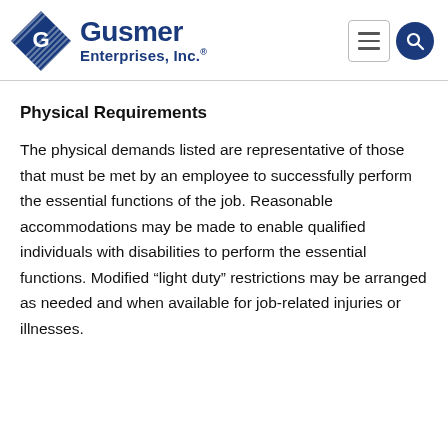Gusmer Enterprises, Inc.
Physical Requirements
The physical demands listed are representative of those that must be met by an employee to successfully perform the essential functions of the job.  Reasonable accommodations may be made to enable qualified individuals with disabilities to perform the essential functions.  Modified “light duty” restrictions may be arranged as needed and when available for job-related injuries or illnesses.